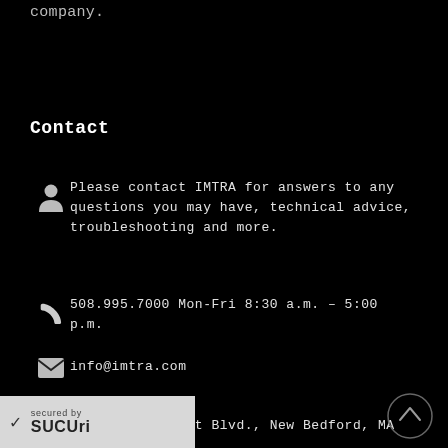company.
Contact
Please contact IMTRA for answers to any questions you may have, technical advice, troubleshooting and more.
508.995.7000 Mon-Fri 8:30 a.m. – 5:00 p.m.
info@imtra.com
30 Samuel Barnet Blvd., New Bedford, MA
[Figure (logo): Sucuri security badge with checkmark and 'secured by SUCURI' text]